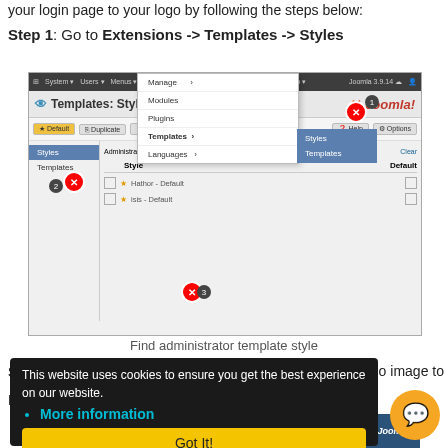your login page to your logo by following the steps below:
Step 1: Go to Extensions -> Templates -> Styles
[Figure (screenshot): Screenshot of Joomla administrator Templates: Styles page with Extensions menu open showing Templates > Styles submenu highlighted, with numbered red circle annotations at steps 1, 2, 3.]
Find administrator template style
[Figure (screenshot): Cookie consent banner overlay with 'More information' link and 'Got It!' button, partially covering second step screenshot of Joomla Templates: Edit Style page.]